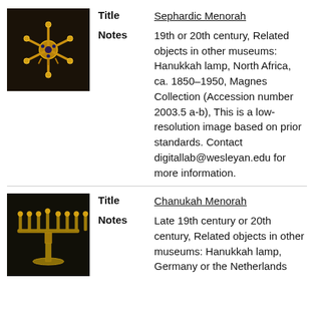[Figure (photo): Photo of a Sephardic Menorah, gold star-shaped lamp with multiple arms]
Title
Sephardic Menorah
Notes
19th or 20th century, Related objects in other museums: Hanukkah lamp, North Africa, ca. 1850–1950, Magnes Collection (Accession number 2003.5 a-b), This is a low-resolution image based on prior standards. Contact digitallab@wesleyan.edu for more information.
[Figure (photo): Photo of a Chanukah Menorah, traditional seven-branched brass menorah on a stand]
Title
Chanukah Menorah
Notes
Late 19th century or 20th century, Related objects in other museums: Hanukkah lamp, Germany or the Netherlands